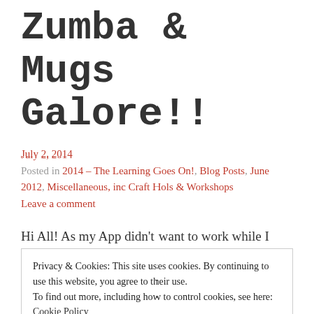Zumba & Mugs Galore!!
July 2, 2014
Posted in 2014 – The Learning Goes On!, Blog Posts, June 2012, Miscellaneous, inc Craft Hols & Workshops
Leave a comment
Hi All! As my App didn't want to work while I
Privacy & Cookies: This site uses cookies. By continuing to use this website, you agree to their use.
To find out more, including how to control cookies, see here:
Cookie Policy
Close and accept
reading…